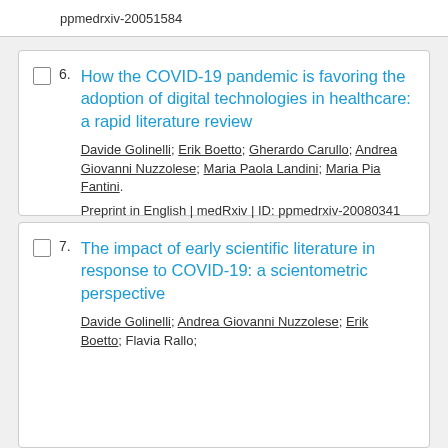ppmedrxiv-20051584
6. How the COVID-19 pandemic is favoring the adoption of digital technologies in healthcare: a rapid literature review
Davide Golinelli; Erik Boetto; Gherardo Carullo; Andrea Giovanni Nuzzolese; Maria Paola Landini; Maria Pia Fantini.
Preprint in English | medRxiv | ID: ppmedrxiv-20080341
7. The impact of early scientific literature in response to COVID-19: a scientometric perspective
Davide Golinelli; Andrea Giovanni Nuzzolese; Erik Boetto; Flavia Rallo;